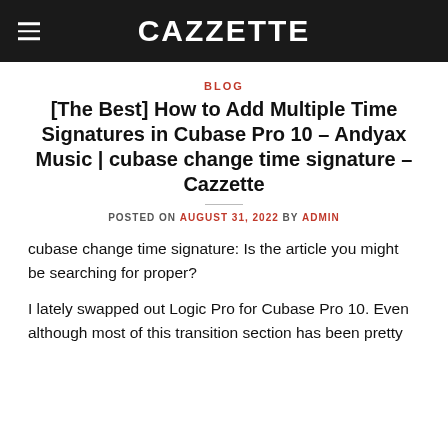CAZZETTE
BLOG
[The Best] How to Add Multiple Time Signatures in Cubase Pro 10 – Andyax Music | cubase change time signature – Cazzette
POSTED ON AUGUST 31, 2022 BY ADMIN
cubase change time signature: Is the article you might be searching for proper?
I lately swapped out Logic Pro for Cubase Pro 10. Even although most of this transition section has been pretty